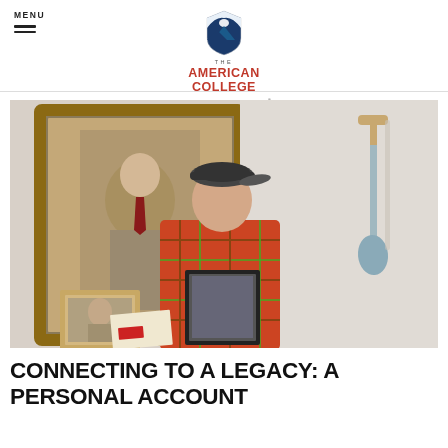THE AMERICAN COLLEGE OF FINANCIAL SERVICES
[Figure (photo): An elderly man wearing a plaid shirt and flat cap stands in front of a large painted portrait of a distinguished man in a suit. The man holds a framed black-and-white photograph. To his right, a shovel is mounted on the wall. Various framed items are visible in the foreground.]
CONNECTING TO A LEGACY: A PERSONAL ACCOUNT